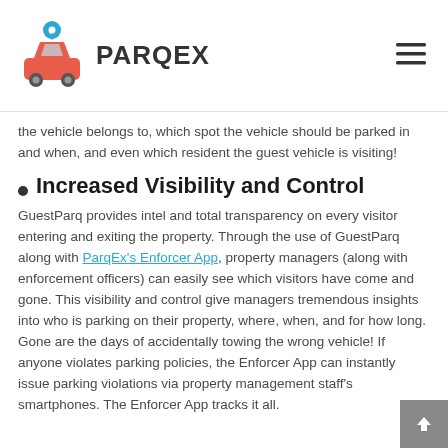PARQEX
the vehicle belongs to, which spot the vehicle should be parked in and when, and even which resident the guest vehicle is visiting!
Increased Visibility and Control
GuestParq provides intel and total transparency on every visitor entering and exiting the property. Through the use of GuestParq along with ParqEx's Enforcer App, property managers (along with enforcement officers) can easily see which visitors have come and gone. This visibility and control give managers tremendous insights into who is parking on their property, where, when, and for how long. Gone are the days of accidentally towing the wrong vehicle! If anyone violates parking policies, the Enforcer App can instantly issue parking violations via property management staff's smartphones. The Enforcer App tracks it all.